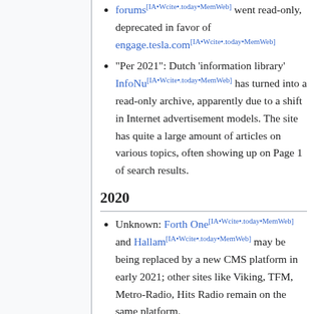forums[IA•Wcite•.today•MemWeb] went read-only, deprecated in favor of engage.tesla.com[IA•Wcite•.today•MemWeb]
"Per 2021": Dutch 'information library' InfoNu[IA•Wcite•.today•MemWeb] has turned into a read-only archive, apparently due to a shift in Internet advertisement models. The site has quite a large amount of articles on various topics, often showing up on Page 1 of search results.
2020
Unknown: Forth One[IA•Wcite•.today•MemWeb] and Hallam[IA•Wcite•.today•MemWeb] may be being replaced by a new CMS platform in early 2021; other sites like Viking, TFM, Metro-Radio, Hits Radio remain on the same platform.